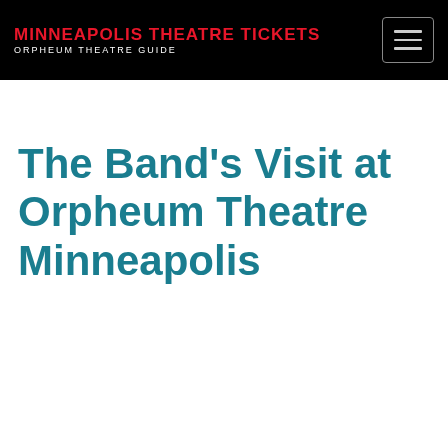MINNEAPOLIS THEATRE TICKETS ORPHEUM THEATRE GUIDE
The Band's Visit at Orpheum Theatre Minneapolis